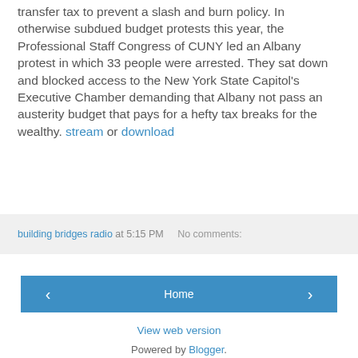transfer tax to prevent a slash and burn policy. In otherwise subdued budget protests this year, the Professional Staff Congress of CUNY led an Albany protest in which 33 people were arrested. They sat down and blocked access to the New York State Capitol's Executive Chamber demanding that Albany not pass an austerity budget that pays for a hefty tax breaks for the wealthy. stream or download
building bridges radio at 5:15 PM   No comments:
‹
Home
›
View web version
Powered by Blogger.